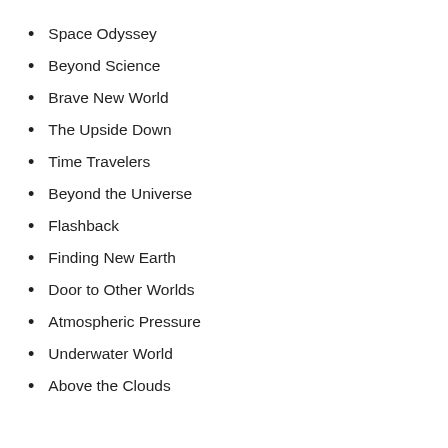Space Odyssey
Beyond Science
Brave New World
The Upside Down
Time Travelers
Beyond the Universe
Flashback
Finding New Earth
Door to Other Worlds
Atmospheric Pressure
Underwater World
Above the Clouds